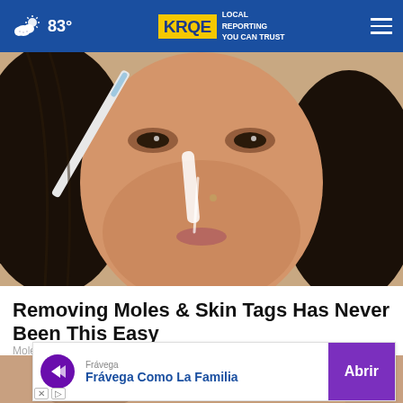83° KRQE LOCAL REPORTING YOU CAN TRUST
[Figure (photo): Close-up photo of a woman applying something white to her nose area with a brush or applicator, dark curly hair, beauty/skincare context]
Removing Moles & Skin Tags Has Never Been This Easy
Mole & Skin Tag Removal
[Figure (photo): Partial bottom image, another beauty/skincare photo partially visible]
Frávega
Frávega Como La Familia
Abrir